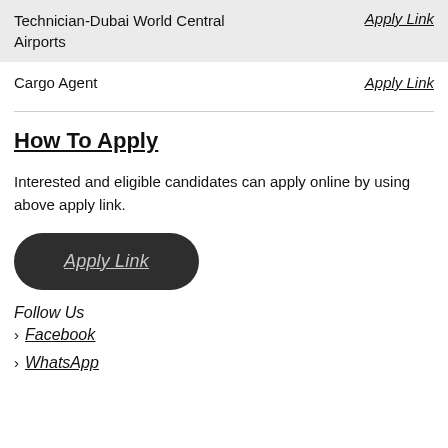| Job Title | Link |
| --- | --- |
| Technician-Dubai World Central Airports | Apply Link |
| Cargo Agent | Apply Link |
How To Apply
Interested and eligible candidates can apply online by using above apply link.
Apply Link
Follow Us
Facebook
WhatsApp